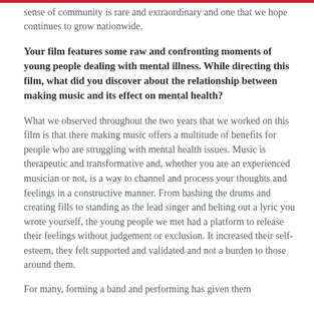sense of community is rare and extraordinary and one that we hope continues to grow nationwide.
Your film features some raw and confronting moments of young people dealing with mental illness. While directing this film, what did you discover about the relationship between making music and its effect on mental health?
What we observed throughout the two years that we worked on this film is that there making music offers a multitude of benefits for people who are struggling with mental health issues. Music is therapeutic and transformative and, whether you are an experienced musician or not, is a way to channel and process your thoughts and feelings in a constructive manner. From bashing the drums and creating fills to standing as the lead singer and belting out a lyric you wrote yourself, the young people we met had a platform to release their feelings without judgement or exclusion. It increased their self-esteem, they felt supported and validated and not a burden to those around them.
For many, forming a band and performing has given them